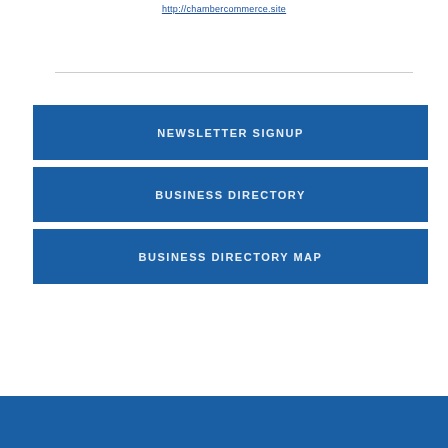http://chambercommerce.site
NEWSLETTER SIGNUP
BUSINESS DIRECTORY
BUSINESS DIRECTORY MAP